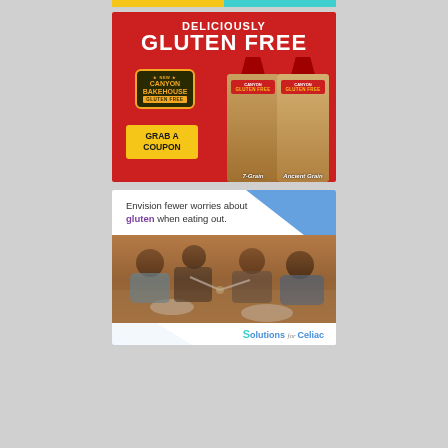[Figure (advertisement): Canyon Bakehouse Gluten Free bread advertisement on red background. Text reads DELICIOUSLY GLUTEN FREE with Canyon Bakehouse logo, two bread bag products (7-Grain and Ancient Grain), and a yellow GRAB A COUPON button.]
[Figure (advertisement): Solutions for Celiac advertisement with white background and blue triangle accents. Text reads Envision fewer worries about gluten when eating out. Photo shows four women dining together clinking glasses. Solutions for Celiac logo at bottom right.]